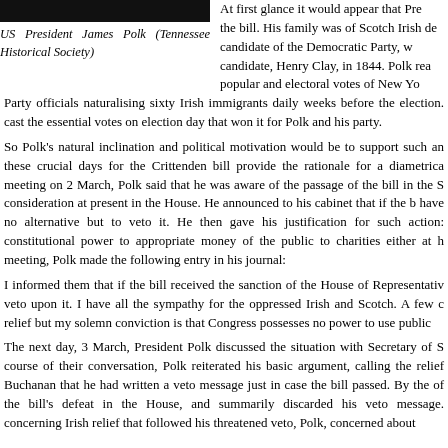[Figure (photo): Dark/black photograph of US President James Polk]
US President James Polk (Tennessee Historical Society)
At first glance it would appear that Pre... the bill. His family was of Scotch Irish de... candidate of the Democratic Party, w... candidate, Henry Clay, in 1844. Polk rea... popular and electoral votes of New Yo...
Party officials naturalising sixty Irish immigrants daily weeks before the election. cast the essential votes on election day that won it for Polk and his party.
So Polk's natural inclination and political motivation would be to support such an these crucial days for the Crittenden bill provide the rationale for a diametrica meeting on 2 March, Polk said that he was aware of the passage of the bill in the S consideration at present in the House. He announced to his cabinet that if the b have no alternative but to veto it. He then gave his justification for such action: constitutional power to appropriate money of the public to charities either at h meeting, Polk made the following entry in his journal:
I informed them that if the bill received the sanction of the House of Representativ veto upon it. I have all the sympathy for the oppressed Irish and Scotch. A few c relief but my solemn conviction is that Congress possesses no power to use public
The next day, 3 March, President Polk discussed the situation with Secretary of S course of their conversation, Polk reiterated his basic argument, calling the relief Buchanan that he had written a veto message just in case the bill passed. By the of the bill's defeat in the House, and summarily discarded his veto message. concerning Irish relief that followed his threatened veto, Polk, concerned abou...